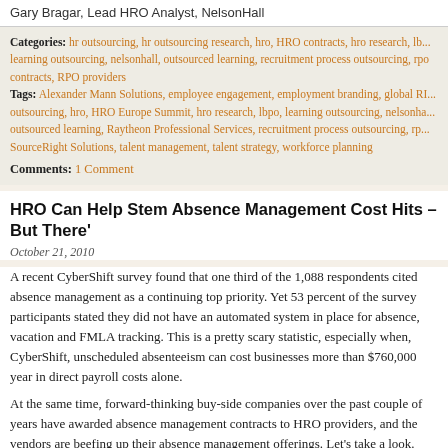Gary Bragar, Lead HRO Analyst, NelsonHall
Categories: hr outsourcing, hr outsourcing research, hro, HRO contracts, hro research, lb..., learning outsourcing, nelsonhall, outsourced learning, recruitment process outsourcing, rpo contracts, RPO providers
Tags: Alexander Mann Solutions, employee engagement, employment branding, global R... outsourcing, hro, HRO Europe Summit, hro research, lbpo, learning outsourcing, nelsonha..., outsourced learning, Raytheon Professional Services, recruitment process outsourcing, rp..., SourceRight Solutions, talent management, talent strategy, workforce planning
Comments: 1 Comment
HRO Can Help Stem Absence Management Cost Hits – But There'...
October 21, 2010
A recent CyberShift survey found that one third of the 1,088 respondents cited absence management as a continuing top priority. Yet 53 percent of the survey participants stated they did not have an automated system in place for absence, vacation and FMLA tracking. This is a pretty scary statistic, especially when, CyberShift, unscheduled absenteeism can cost businesses more than $760,000 year in direct payroll costs alone.
At the same time, forward-thinking buy-side companies over the past couple of years have awarded absence management contracts to HRO providers, and the vendors are beefing up their absence management offerings. Let's take a look.
Absence Management Contracts